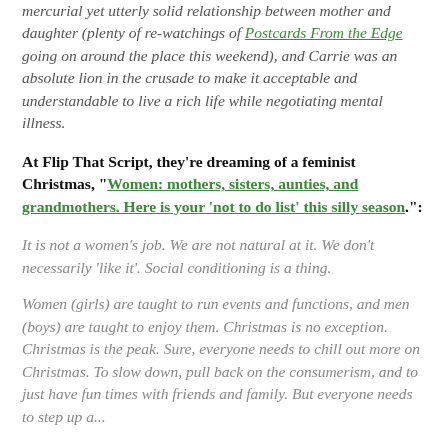mercurial yet utterly solid relationship between mother and daughter (plenty of re-watchings of Postcards From the Edge going on around the place this weekend), and Carrie was an absolute lion in the crusade to make it acceptable and understandable to live a rich life while negotiating mental illness.
At Flip That Script, they're dreaming of a feminist Christmas, "Women: mothers, sisters, aunties, and grandmothers. Here is your 'not to do list' this silly season.":
It is not a women's job. We are not natural at it. We don't necessarily 'like it'. Social conditioning is a thing.
Women (girls) are taught to run events and functions, and men (boys) are taught to enjoy them. Christmas is no exception. Christmas is the peak. Sure, everyone needs to chill out more on Christmas. To slow down, pull back on the consumerism, and to just have fun times with friends and family. But everyone needs to step up a...